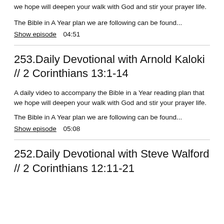we hope will deepen your walk with God and stir your prayer life.
The Bible in A Year plan we are following can be found...
Show episode  04:51
253.Daily Devotional with Arnold Kaloki // 2 Corinthians 13:1-14
A daily video to accompany the Bible in a Year reading plan that we hope will deepen your walk with God and stir your prayer life.
The Bible in A Year plan we are following can be found...
Show episode  05:08
252.Daily Devotional with Steve Walford // 2 Corinthians 12:11-21